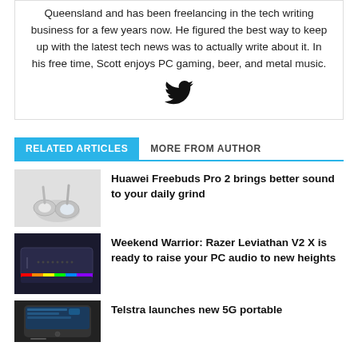Queensland and has been freelancing in the tech writing business for a few years now. He figured the best way to keep up with the latest tech news was to actually write about it. In his free time, Scott enjoys PC gaming, beer, and metal music.
[Figure (illustration): Twitter bird logo icon in black]
RELATED ARTICLES | MORE FROM AUTHOR
[Figure (photo): Huawei Freebuds Pro 2 earbuds in white/silver on white background]
Huawei Freebuds Pro 2 brings better sound to your daily grind
[Figure (photo): Razer Leviathan V2 X soundbar with RGB lighting on dark background]
Weekend Warrior: Razer Leviathan V2 X is ready to raise your PC audio to new heights
[Figure (photo): Telstra 5G portable device on white background]
Telstra launches new 5G portable